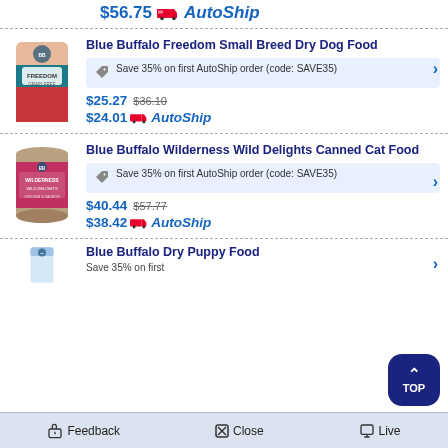$56.75 AutoShip
Blue Buffalo Freedom Small Breed Dry Dog Food
Save 35% on first AutoShip order (code: SAVE35)
$25.27  $36.10
$24.01 AutoShip
Blue Buffalo Wilderness Wild Delights Canned Cat Food
Save 35% on first AutoShip order (code: SAVE35)
$40.44  $57.77
$38.42 AutoShip
Blue Buffalo Dry Puppy Food
Save 35% on first
Feedback   Close   Live